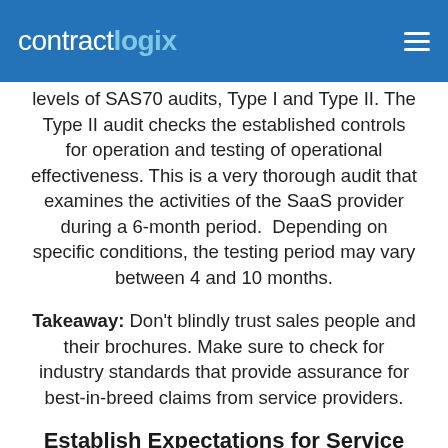contractlogix
levels of SAS70 audits, Type I and Type II. The Type II audit checks the established controls for operation and testing of operational effectiveness. This is a very thorough audit that examines the activities of the SaaS provider during a 6-month period.  Depending on specific conditions, the testing period may vary between 4 and 10 months.
Takeaway: Don't blindly trust sales people and their brochures. Make sure to check for industry standards that provide assurance for best-in-breed claims from service providers.
Establish Expectations for Service